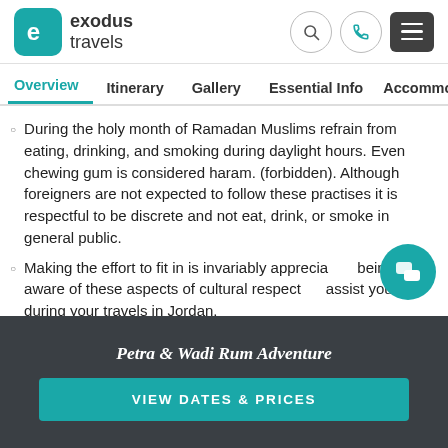exodus travels
Overview | Itinerary | Gallery | Essential Info | Accommododa
During the holy month of Ramadan Muslims refrain from eating, drinking, and smoking during daylight hours. Even chewing gum is considered haram. (forbidden). Although foreigners are not expected to follow these practises it is respectful to be discrete and not eat, drink, or smoke in general public.
Making the effort to fit in is invariably appreciated; being aware of these aspects of cultural respect will assist you during your travels in Jordan.
Petra & Wadi Rum Adventure
VIEW DATES & PRICES